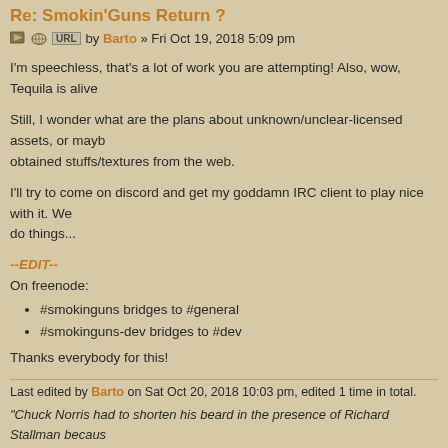Re: Smokin'Guns Return ?
by Barto » Fri Oct 19, 2018 5:09 pm
I'm speechless, that's a lot of work you are attempting! Also, wow, Tequila is alive
Still, I wonder what are the plans about unknown/unclear-licensed assets, or maybe obtained stuffs/textures from the web.
I'll try to come on discord and get my goddamn IRC client to play nice with it. We do things...
--EDIT--
On freenode:
#smokinguns bridges to #general
#smokinguns-dev bridges to #dev
Thanks everybody for this!
Last edited by Barto on Sat Oct 20, 2018 10:03 pm, edited 1 time in total.
"Chuck Norris had to shorten his beard in the presence of Richard Stallman because awesome, so close would segfault the universe (again)."